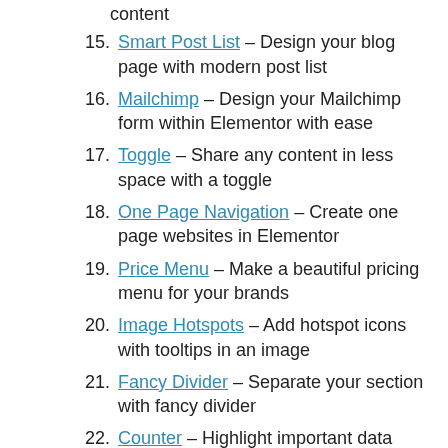content
Smart Post List – Design your blog page with modern post list
Mailchimp – Design your Mailchimp form within Elementor with ease
Toggle – Share any content in less space with a toggle
One Page Navigation – Create one page websites in Elementor
Price Menu – Make a beautiful pricing menu for your brands
Image Hotspots – Add hotspot icons with tooltips in an image
Fancy Divider – Separate your section with fancy divider
Counter – Highlight important data using the Counter element
Team Member Carousel – Display team members in a carousel